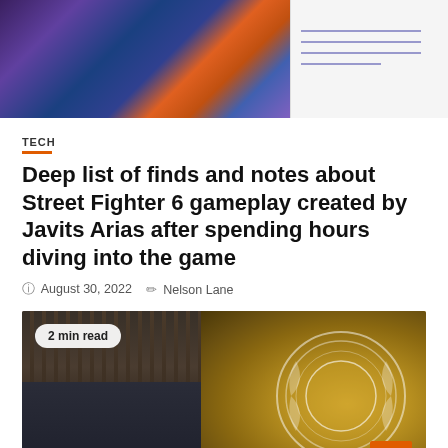[Figure (photo): Top portion showing a colorful Street Fighter 6 gameplay image on the left and a partial image on the right with horizontal lines]
TECH
Deep list of finds and notes about Street Fighter 6 gameplay created by Javits Arias after spending hours diving into the game
August 30, 2022   Nelson Lane
[Figure (photo): Photo of a person standing at a podium with the UN emblem visible. Badge reads '2 min read'. Orange scroll-to-top button visible at bottom right.]